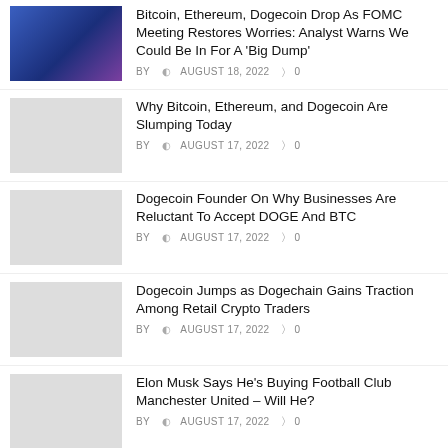[Figure (photo): Cryptocurrency coins with blue background]
Bitcoin, Ethereum, Dogecoin Drop As FOMC Meeting Restores Worries: Analyst Warns We Could Be In For A ‘Big Dump’
BY ⓘ AUGUST 18, 2022 ○ 0
[Figure (photo): Gray placeholder image]
Why Bitcoin, Ethereum, and Dogecoin Are Slumping Today
BY ⓘ AUGUST 17, 2022 ○ 0
[Figure (photo): Gray placeholder image]
Dogecoin Founder On Why Businesses Are Reluctant To Accept DOGE And BTC
BY ⓘ AUGUST 17, 2022 ○ 0
[Figure (photo): Gray placeholder image]
Dogecoin Jumps as Dogechain Gains Traction Among Retail Crypto Traders
BY ⓘ AUGUST 17, 2022 ○ 0
[Figure (photo): Gray placeholder image]
Elon Musk Says He’s Buying Football Club Manchester United – Will He?
BY ⓘ AUGUST 17, 2022 ○ 0